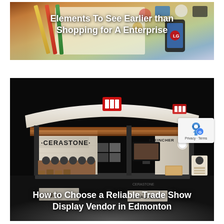[Figure (photo): Top card: photo of a workspace/desk with pencils, paper, and branding materials, with white bold text overlay reading 'Elements To See Earlier than Shopping for A Enterprise']
Elements To See Earlier than Shopping for A Enterprise
[Figure (photo): Bottom card: photo of a trade show booth display for 'CERASTONE' brand, a large modern exhibition booth with wood paneling, a curved white canopy, lit display areas on a dark background, with white bold text overlay reading 'How to Choose a Reliable Trade Show Display Vendor in Edmonton']
How to Choose a Reliable Trade Show Display Vendor in Edmonton